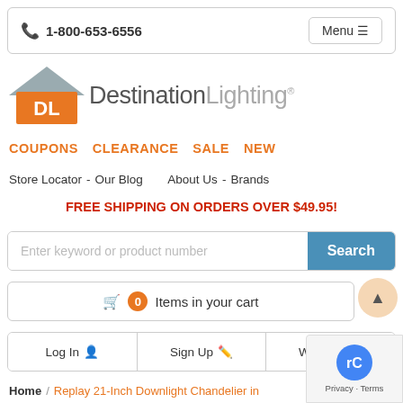1-800-653-6556  Menu
[Figure (logo): Destination Lighting logo with orange house icon and 'DL' text]
COUPONS   CLEARANCE   SALE   NEW
Store Locator - Our Blog   About Us - Brands
FREE SHIPPING ON ORDERS OVER $49.95!
Enter keyword or product number  Search
🛒 0 Items in your cart
Log In   Sign Up   Wish List
Home / Replay 21-Inch Downlight Chandelier in